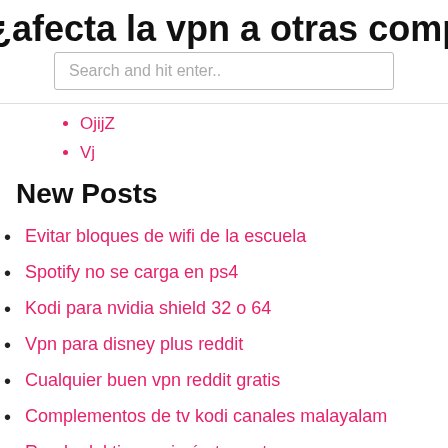¿afecta la vpn a otras computadoras
[Figure (screenshot): Search bar with placeholder text 'Search and hit enter..']
OjijZ
Vj
New Posts
Evitar bloques de wifi de la escuela
Spotify no se carga en ps4
Kodi para nvidia shield 32 o 64
Vpn para disney plus reddit
Cualquier buen vpn reddit gratis
Complementos de tv kodi canales malayalam
Rueda del tiempo imán torrente